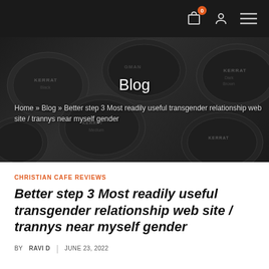Navigation bar with cart (0), user, and menu icons
[Figure (photo): Dark background with circular hair product tin lids showing KERRAT brand labels in various shades]
Blog
Home » Blog » Better step 3 Most readily useful transgender relationship web site / trannys near myself gender
CHRISTIAN CAFE REVIEWS
Better step 3 Most readily useful transgender relationship web site / trannys near myself gender
BY RAVI D  |  JUNE 23, 2022